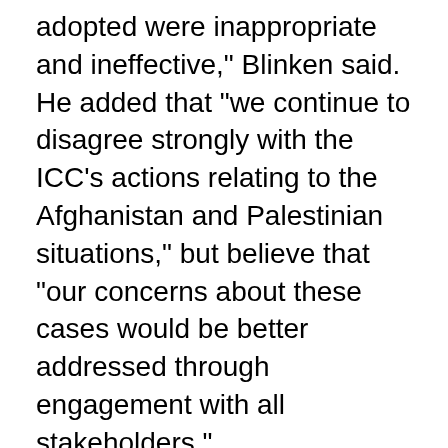adopted were inappropriate and ineffective," Blinken said. He added that "we continue to disagree strongly with the ICC's actions relating to the Afghanistan and Palestinian situations," but believe that "our concerns about these cases would be better addressed through engagement with all stakeholders."
Rep. Ilhan Omar (D-Minn.) responded to the development on Twitter, declaring that "this is a long overdue victory for international justice and the rule of law."
"It is time for us to mean what we say and say what [we] mean on human rights once and for all," said Omar, adding that she was proud to join with Reps. Joaquin Castro (D-Texas) and Jim McGovern (D-Mass.) in pushing for the sanctions to be lifted.
The ICC investigates and tries individuals charged with genocide, war crimes, crimes against humanity, and the crime of aggression. It was established by a 1998 treaty that entered into force in 2002, shortly after the Bush